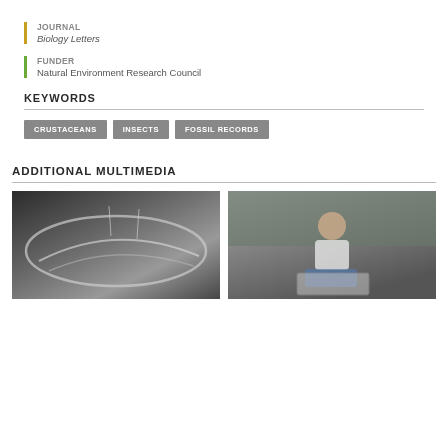JOURNAL
Biology Letters
FUNDER
Natural Environment Research Council
KEYWORDS
CRUSTACEANS
INSECTS
FOSSIL RECORDS
ADDITIONAL MULTIMEDIA
[Figure (photo): Black and white photograph of a fossil jaw specimen]
[Figure (photo): Color photograph of a man sitting outdoors holding a fossil specimen in a frame]